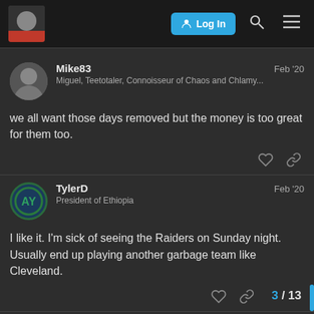Log In
Mike83 Feb '20
Miguel, Teetotaler, Connoisseur of Chaos and Chlamy...
we all want those days removed but the money is too great for them too.
TylerD Feb '20
President of Ethiopia
I like it. I'm sick of seeing the Raiders on Sunday night. Usually end up playing another garbage team like Cleveland.
3 / 13
ThepAlmetToState